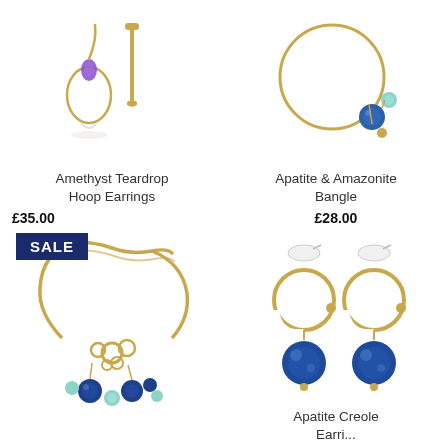[Figure (photo): Amethyst Teardrop Hoop Earrings - gold teardrop shaped earrings with purple amethyst stone]
Amethyst Teardrop Hoop Earrings
£35.00
[Figure (photo): Apatite & Amazonite Bangle - gold hoop bangle with blue apatite and amazonite beads]
Apatite & Amazonite Bangle
£28.00
[Figure (photo): SALE - Gold necklace with blue apatite and amazonite beads clustered at the bottom]
[Figure (photo): Apatite Creole Earrings - gold creole hoop earrings with blue apatite ball drops]
Apatite Creole Earrings